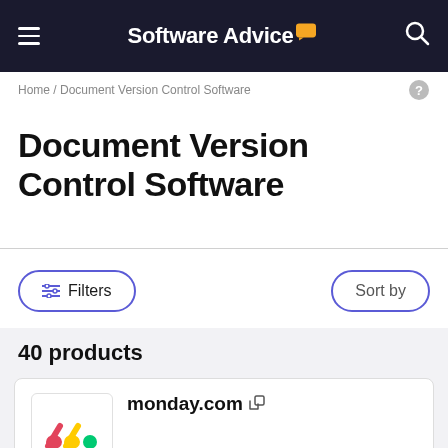Software Advice
Home / Document Version Control Software
Document Version Control Software
Filters   Sort by
40 products
monday.com
monday.com is an award-winning work and project management platform that helps teams of all sizes